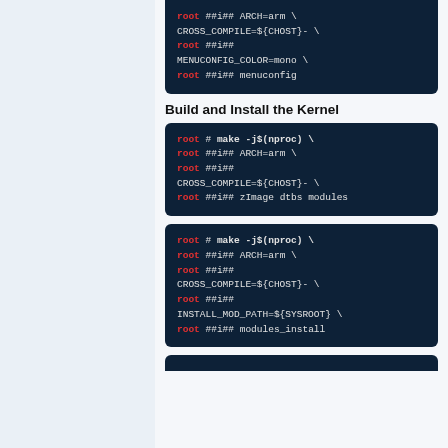[Figure (screenshot): Code block showing root ##i## ARCH=arm \ CROSS_COMPILE=${CHOST}- \ root ##i## MENUCONFIG_COLOR=mono \ root ##i## menuconfig]
Build and Install the Kernel
[Figure (screenshot): Code block showing root # make -j$(nproc) \ root ##i## ARCH=arm \ root ##i## CROSS_COMPILE=${CHOST}- \ root ##i## zImage dtbs modules]
[Figure (screenshot): Code block showing root # make -j$(nproc) \ root ##i## ARCH=arm \ root ##i## CROSS_COMPILE=${CHOST}- \ root ##i## INSTALL_MOD_PATH=${SYSROOT} \ root ##i## modules_install]
[Figure (screenshot): Partial code block at bottom of page]